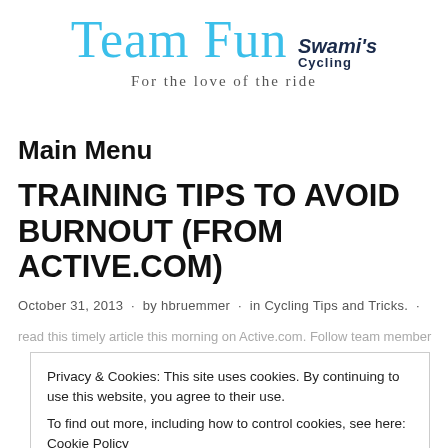[Figure (logo): Team Fun Swami's Cycling logo with cursive blue 'Team Fun' text and bold dark 'Swami's Cycling' text, tagline: For the love of the ride]
Main Menu
TRAINING TIPS TO AVOID BURNOUT (FROM ACTIVE.COM)
October 31, 2013 · by hbruemmer · in Cycling Tips and Tricks. ·
Privacy & Cookies: This site uses cookies. By continuing to use this website, you agree to their use.
To find out more, including how to control cookies, see here: Cookie Policy
Close and accept